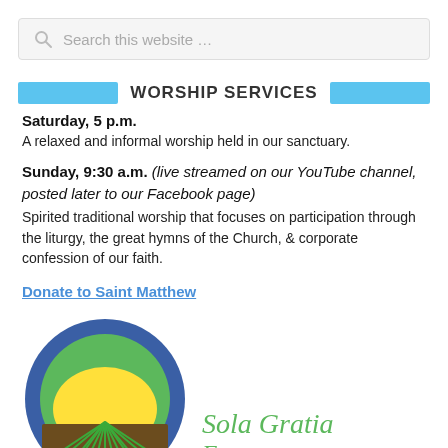Search this website …
WORSHIP SERVICES
Saturday, 5 p.m.
A relaxed and informal worship held in our sanctuary.
Sunday, 9:30 a.m. (live streamed on our YouTube channel, posted later to our Facebook page)
Spirated traditional worship that focuses on participation through the liturgy, the great hymns of the Church, & corporate confession of our faith.
Donate to Saint Matthew
[Figure (logo): Circular logo with blue outer ring, green inner arc, yellow sun semicircle, brown/dark field with green radiating lines. Beside it text reads 'Sola Gratia F...']